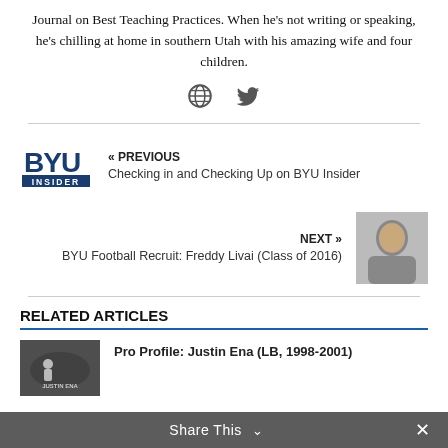Journal on Best Teaching Practices. When he's not writing or speaking, he's chilling at home in southern Utah with his amazing wife and four children.
[Figure (infographic): Two social media icons: a globe/website icon and a Twitter bird icon]
« PREVIOUS
Checking in and Checking Up on BYU Insider
NEXT »
BYU Football Recruit: Freddy Livai (Class of 2016)
RELATED ARTICLES
Pro Profile: Justin Ena (LB, 1998-2001)
Share This